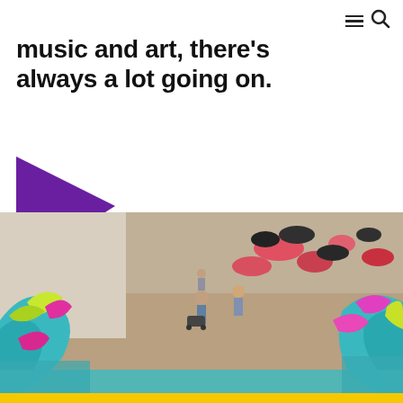navigation icons: menu and search
music and art, there’s always a lot going on.
[Figure (logo): Purple right-pointing triangle / play button logo]
[Figure (photo): Interior of an art gallery or museum with colorful textile/yarn sculptural installations in teal, yellow, and pink in the foreground, and people walking through the space with pink and dark cushion-like sculptures visible in the background.]